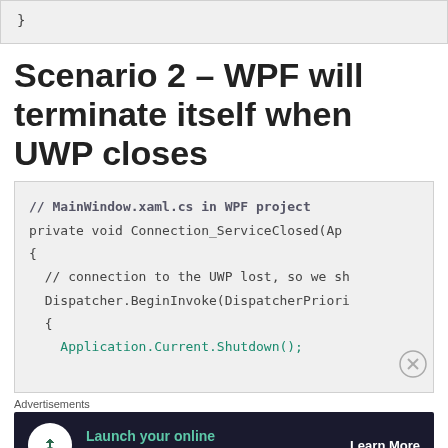}
Scenario 2 – WPF will terminate itself when UWP closes
// MainWindow.xaml.cs in WPF project
private void Connection_ServiceClosed(Ap
{
  // connection to the UWP lost, so we sh
  Dispatcher.BeginInvoke(DispatcherPriori
  {
    Application.Current.Shutdown();
Advertisements
[Figure (infographic): Advertisement banner: dark background with teal tree/upload icon, teal text 'Launch your online course with WordPress', white 'Learn More' button with underline.]